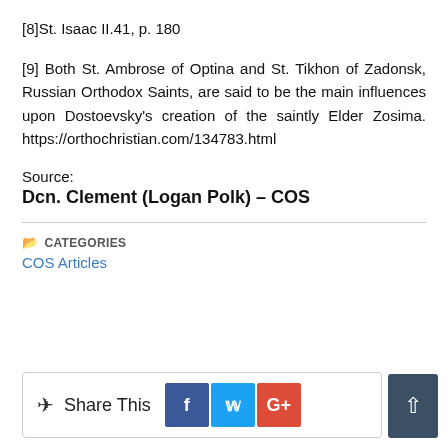[8]St. Isaac II.41, p. 180
[9] Both St. Ambrose of Optina and St. Tikhon of Zadonsk, Russian Orthodox Saints, are said to be the main influences upon Dostoevsky's creation of the saintly Elder Zosima. https://orthochristian.com/134783.html
Source:
Dcn. Clement (Logan Polk) – COS
CATEGORIES
COS Articles
[Figure (other): Share This social media bar with Facebook, Twitter, Google+ buttons and scroll-to-top button]